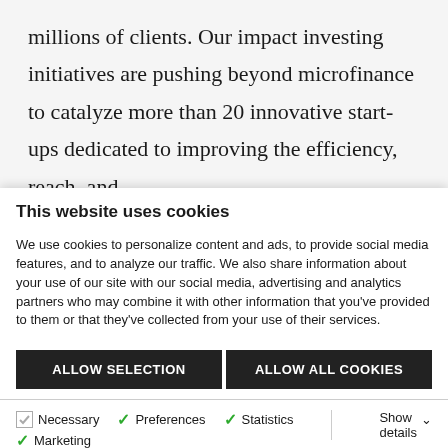millions of clients. Our impact investing initiatives are pushing beyond microfinance to catalyze more than 20 innovative start-ups dedicated to improving the efficiency, reach, and scope of financial services for the poor. And our
This website uses cookies
We use cookies to personalize content and ads, to provide social media features, and to analyze our traffic. We also share information about your use of our site with our social media, advertising and analytics partners who may combine it with other information that you've provided to them or that they've collected from your use of their services.
ALLOW SELECTION   ALLOW ALL COOKIES
Necessary  Preferences  Statistics  Marketing   Show details